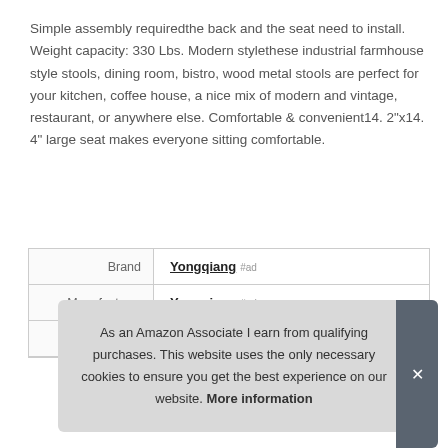Simple assembly requiredthe back and the seat need to install. Weight capacity: 330 Lbs. Modern stylethese industrial farmhouse style stools, dining room, bistro, wood metal stools are perfect for your kitchen, coffee house, a nice mix of modern and vintage, restaurant, or anywhere else. Comfortable & convenient14. 2"x14. 4" large seat makes everyone sitting comfortable.
|  |  |
| --- | --- |
| Brand | Yongqiang #ad |
| Manufacturer | Yongqiang #ad |
| Height | 43.5 Inches |
As an Amazon Associate I earn from qualifying purchases. This website uses the only necessary cookies to ensure you get the best experience on our website. More information